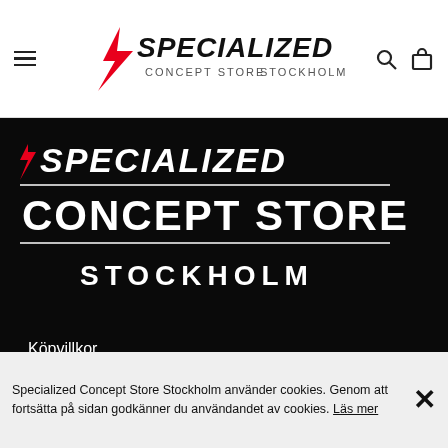≡  SPECIALIZED CONCEPT STORE STOCKHOLM  🔍  🛍
[Figure (logo): Specialized Concept Store Stockholm logo with S lightning bolt, italic SPECIALIZED text, CONCEPT STORE and STOCKHOLM below, on black background]
Köpvillkor
Om Concept Store Stockholm
Lediga jobb
Kontakta oss
Hitta hit
Testcyklar
Bike fit
Specialized Concept Store Stockholm använder cookies. Genom att fortsätta på sidan godkänner du användandet av cookies. Läs mer